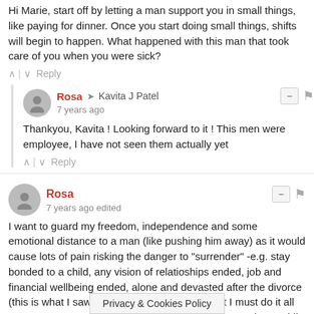Hi Marie, start off by letting a man support you in small things, like paying for dinner. Once you start doing small things, shifts will begin to happen. What happened with this man that took care of you when you were sick?
^ | v Reply
Rosa → Kavita J Patel
7 years ago
Thankyou, Kavita ! Looking forward to it ! This men were employee, I have not seen them actually yet
^ | v Reply
Rosa
7 years ago edited
I want to guard my freedom, independence and some emotional distance to a man (like pushing him away) as it would cause lots of pain risking the danger to "surrender" -e.g. stay bonded to a child, any vision of relatioships ended, job and financial wellbeing ended, alone and devasted after the divorce (this is what I saw in my mom). I totaly see that I must do it all on my own. I cannot receive... I am not sure why, perhaps while receiving something from a potential "danger m... responsible
Privacy & Cookies Policy